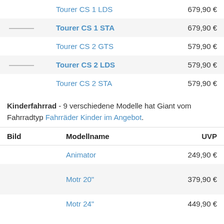| Bild | Modellname | UVP |
| --- | --- | --- |
|  | Tourer CS 1 LDS | 679,90 € |
| — | Tourer CS 1 STA | 679,90 € |
|  | Tourer CS 2 GTS | 579,90 € |
| — | Tourer CS 2 LDS | 579,90 € |
|  | Tourer CS 2 STA | 579,90 € |
Kinderfahrrad - 9 verschiedene Modelle hat Giant vom Fahrradtyp Fahrräder Kinder im Angebot.
| Bild | Modellname | UVP |
| --- | --- | --- |
|  | Animator | 249,90 € |
|  | Motr 20" | 379,90 € |
|  | Motr 24" | 449,90 € |